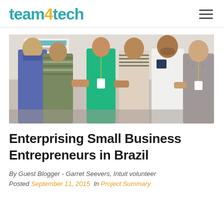team4tech
[Figure (photo): Group photo of six smiling people standing together indoors, some wearing lanyards with yellow badges. A woman in green top is in the center.]
Enterprising Small Business Entrepreneurs in Brazil
By Guest Blogger - Garret Seevers, Intuit volunteer
Posted September 11, 2015  In Project Summary